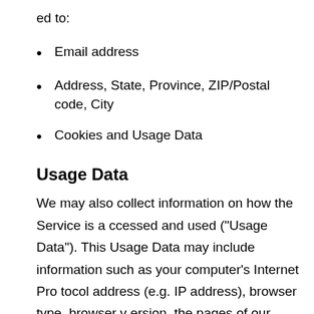ed to:
Email address
Address, State, Province, ZIP/Postal code, City
Cookies and Usage Data
Usage Data
We may also collect information on how the Service is accessed and used ("Usage Data"). This Usage Data may include information such as your computer's Internet Protocol address (e.g. IP address), browser type, browser version, the pages of our Service that you visit, the time and date of your visit, the time spent on those pages, unique device identifiers and other diagnostic data.
Tracking & Cookies Data